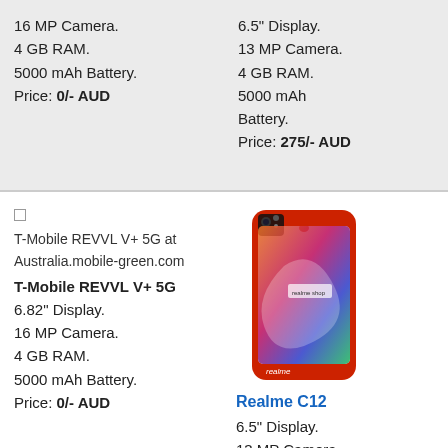16 MP Camera.
4 GB RAM.
5000 mAh Battery.
Price: 0/- AUD
6.5" Display.
13 MP Camera.
4 GB RAM.
5000 mAh Battery.
Price: 275/- AUD
[Figure (photo): T-Mobile REVVL V+ 5G placeholder image]
T-Mobile REVVL V+ 5G at Australia.mobile-green.com
T-Mobile REVVL V+ 5G
6.82" Display.
16 MP Camera.
4 GB RAM.
5000 mAh Battery.
Price: 0/- AUD
[Figure (photo): Realme C12 smartphone photo in red color]
Realme C12
6.5" Display.
13 MP Camera.
4 GB RAM.
6000 mAh Battery.
Price: 237/- AUD